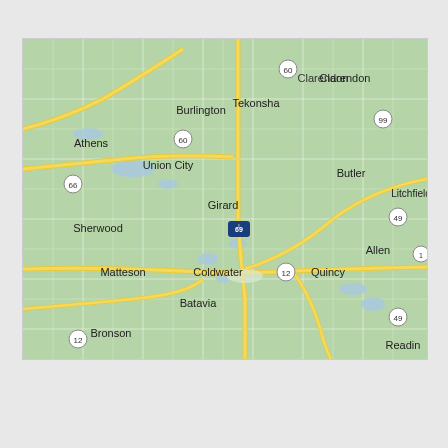[Figure (map): Google Maps style road map showing the area around Coldwater, Michigan. Visible towns include Athens, Burlington, Tekonsha, Clarendon, Union City, Girard, Butler, Litchfield, Sherwood, Coldwater, Quincy, Allen, Matteson, Batavia, Bronson, Reading. Route numbers visible: 60, 66, 69 (Interstate), 99, 49, 12.]